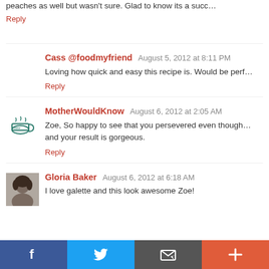peaches as well but wasn't sure. Glad to know its a succ…
Reply
Cass @foodmyfriend  August 5, 2012 at 8:11 PM
Loving how quick and easy this recipe is. Would be perf…
Reply
MotherWouldKnow  August 6, 2012 at 2:05 AM
Zoe, So happy to see that you persevered even though… and your result is gorgeous.
Reply
Gloria Baker  August 6, 2012 at 6:18 AM
I love galette and this look awesome Zoe!
[Figure (infographic): Social sharing bar with Facebook, Twitter, Email, and More (+) buttons]